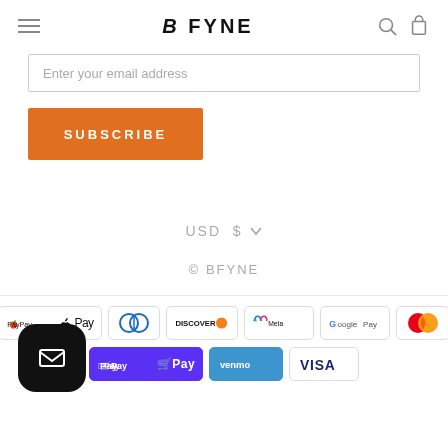B FYNE
Enter your email address
SUBSCRIBE
USD $
© BFYNE
[Figure (infographic): Payment method icons: American Express, Apple Pay, Diners Club, Discover, Meta Pay, Google Pay, Mastercard, PayPal, Shop Pay, Venmo, Visa]